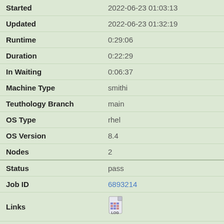| Field | Value |
| --- | --- |
| Started | 2022-06-23 01:03:13 |
| Updated | 2022-06-23 01:32:19 |
| Runtime | 0:29:06 |
| Duration | 0:22:29 |
| In Waiting | 0:06:37 |
| Machine Type | smithi |
| Teuthology Branch | main |
| OS Type | rhel |
| OS Version | 8.4 |
| Nodes | 2 |
| Status | pass |
| Job ID | 6893214 |
| Links | [LOG icon] |
| Posted | 2022-06-22 22:25:04 |
| Started | 2022-06-23 01:03:23 |